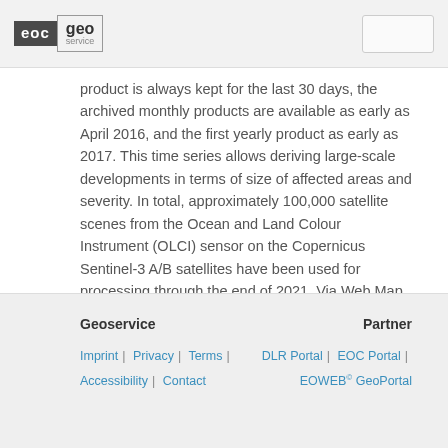EOC Geoservice
product is always kept for the last 30 days, the archived monthly products are available as early as April 2016, and the first yearly product as early as 2017. This time series allows deriving large-scale developments in terms of size of affected areas and severity. In total, approximately 100,000 satellite scenes from the Ocean and Land Colour Instrument (OLCI) sensor on the Copernicus Sentinel-3 A/B satellites have been used for processing through the end of 2021. Via Web Map and Web Feature Services (WMS/WFS),
Geoservice | Partner | Imprint | Privacy | Terms | Accessibility | Contact | DLR Portal | EOC Portal | EOWEB© GeoPortal